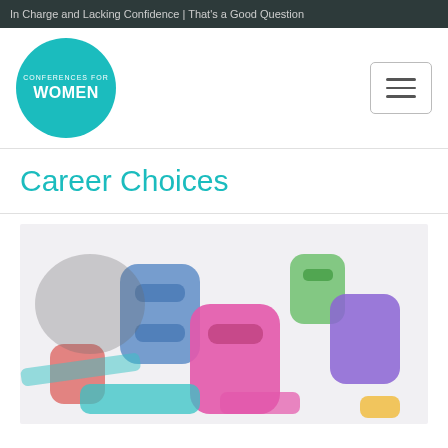In Charge and Lacking Confidence | That's a Good Question
[Figure (logo): Conferences for Women circular teal logo]
[Figure (other): Hamburger menu button (three horizontal lines)]
Career Choices
[Figure (photo): Colorful plastic alphabet letters scattered on a white surface, out of focus]